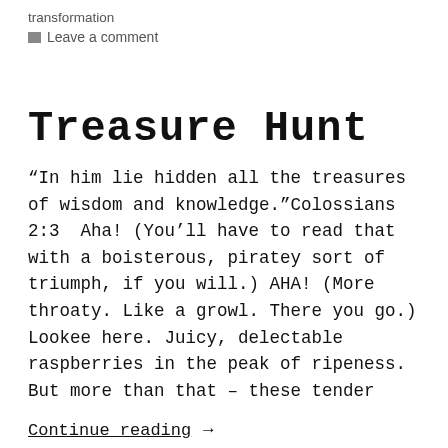transformation
Leave a comment
Treasure Hunt
“In him lie hidden all the treasures of wisdom and knowledge.”Colossians 2:3  Aha! (You’ll have to read that with a boisterous, piratey sort of triumph, if you will.) AHA! (More throaty. Like a growl. There you go.) Lookee here. Juicy, delectable raspberries in the peak of ripeness. But more than that – these tender
Continue reading →